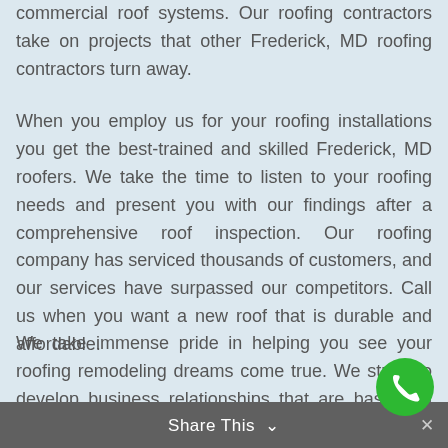commercial roof systems. Our roofing contractors take on projects that other Frederick, MD roofing contractors turn away.
When you employ us for your roofing installations you get the best-trained and skilled Frederick, MD roofers. We take the time to listen to your roofing needs and present you with our findings after a comprehensive roof inspection. Our roofing company has serviced thousands of customers, and our services have surpassed our competitors. Call us when you want a new roof that is durable and affordable.
We take immense pride in helping you see your roofing remodeling dreams come true. We strive to develop business relationships that are based on respect, trust, and honesty. You will find our roofing technicians and staff friendly and knowledgeable. Our work ethics are second to none. We provide the following services:
Our Services:
Share This ∨